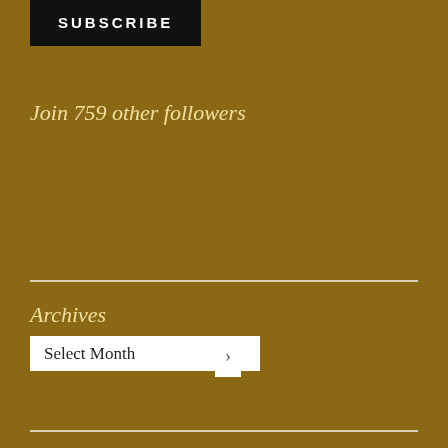SUBSCRIBE
Join 759 other followers
Archives
Select Month
Follow Trading Barbs With Barb
ARE YOU READY TO WRITE?